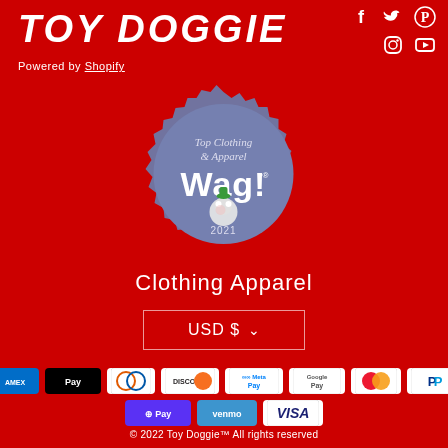TOY DOGGIE
[Figure (illustration): Social media icons: Facebook, Twitter, Pinterest, Instagram, YouTube on red background]
Powered by Shopify
[Figure (illustration): Wag! 2021 badge - Top Clothing & Apparel award seal in blue/grey color]
Clothing Apparel
USD $
[Figure (illustration): Payment method icons: American Express, Apple Pay, Diners Club, Discover, Meta Pay, Google Pay, Mastercard, PayPal, Shop Pay, Venmo, Visa]
© 2022 Toy Doggie™ All rights reserved